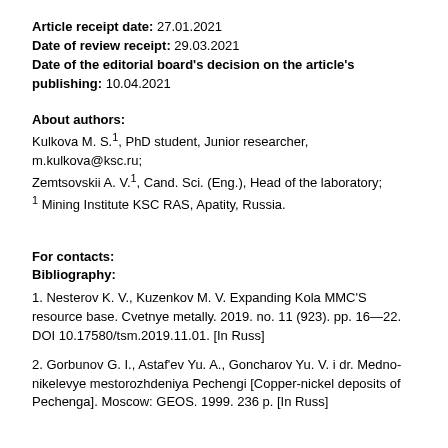Article receipt date: 27.01.2021
Date of review receipt: 29.03.2021
Date of the editorial board's decision on the article's publishing: 10.04.2021
About authors:
Kulkova M. S.1, PhD student, Junior researcher, m.kulkova@ksc.ru;
Zemtsovskii A. V.1, Cand. Sci. (Eng.), Head of the laboratory;
1 Mining Institute KSC RAS, Apatity, Russia.
For contacts:
Bibliography:
1. Nesterov K. V., Kuzenkov M. V. Expanding Kola MMC'S resource base. Cvetnye metally. 2019. no. 11 (923). pp. 16—22. DOI 10.17580/tsm.2019.11.01. [In Russ]
2. Gorbunov G. I., Astaf'ev Yu. A., Goncharov Yu. V. i dr. Medno-nikelevye mestorozhdeniya Pechengi [Copper-nickel deposits of Pechenga]. Moscow: GEOS. 1999. 236 p. [In Russ]